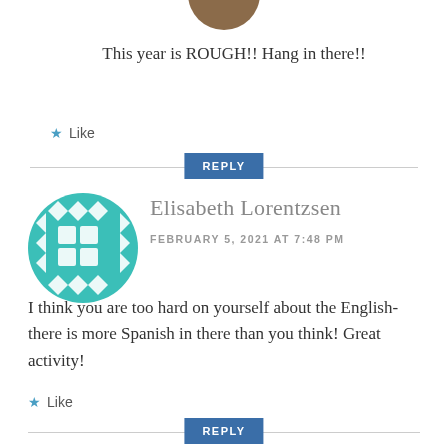[Figure (photo): Circular profile photo of a person, partially visible at top]
This year is ROUGH!! Hang in there!!
Like
REPLY
[Figure (illustration): Teal circular avatar with geometric/grid pattern (Elisabeth Lorentzsen profile icon)]
Elisabeth Lorentzsen
FEBRUARY 5, 2021 AT 7:48 PM
I think you are too hard on yourself about the English- there is more Spanish in there than you think! Great activity!
Like
REPLY